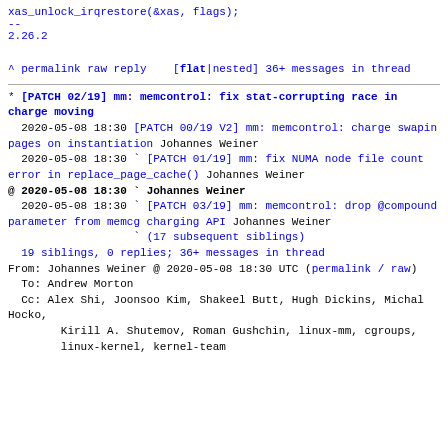xas_unlock_irqrestore(&xas, flags);
--
2.26.2
^ permalink raw reply   [flat|nested] 36+ messages in thread
* [PATCH 02/19] mm: memcontrol: fix stat-corrupting race in charge moving
  2020-05-08 18:30 [PATCH 00/19 V2] mm: memcontrol: charge swapin pages on instantiation Johannes Weiner
  2020-05-08 18:30 ` [PATCH 01/19] mm: fix NUMA node file count error in replace_page_cache() Johannes Weiner
@ 2020-05-08 18:30 ` Johannes Weiner
  2020-05-08 18:30 ` [PATCH 03/19] mm: memcontrol: drop @compound parameter from memcg charging API Johannes Weiner
                   ` (17 subsequent siblings)
  19 siblings, 0 replies; 36+ messages in thread
From: Johannes Weiner @ 2020-05-08 18:30 UTC (permalink / raw)
  To: Andrew Morton
  Cc: Alex Shi, Joonsoo Kim, Shakeel Butt, Hugh Dickins, Michal Hocko,
        Kirill A. Shutemov, Roman Gushchin, linux-mm, cgroups,
        linux-kernel, kernel-team